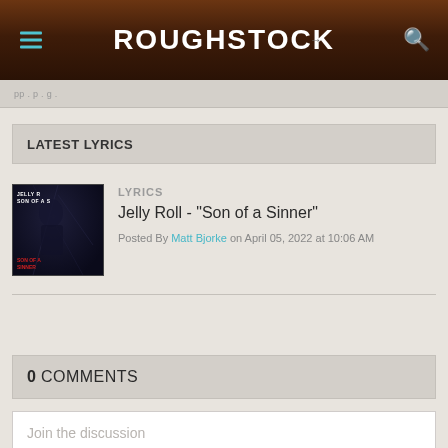ROUGHSTOCK
LATEST LYRICS
[Figure (photo): Album cover art for Jelly Roll 'Son of a Sinner' — dark background with figure, text overlay showing JELLY R... and SON OF A S...]
LYRICS
Jelly Roll - "Son of a Sinner"
Posted By Matt Bjorke on April 05, 2022 at 10:06 AM
0 COMMENTS
Join the discussion